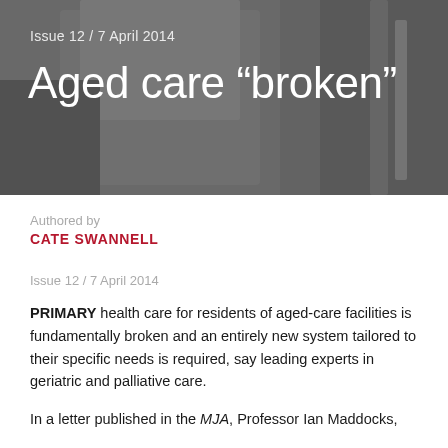[Figure (photo): Greyscale photo of a wheelchair/aged care chair in background, serving as hero image banner]
Issue 12 / 7 April 2014
Aged care “broken”
Authored by
CATE SWANNELL
Issue 12 / 7 April 2014
PRIMARY health care for residents of aged-care facilities is fundamentally broken and an entirely new system tailored to their specific needs is required, say leading experts in geriatric and palliative care.
In a letter published in the MJA, Professor Ian Maddocks,